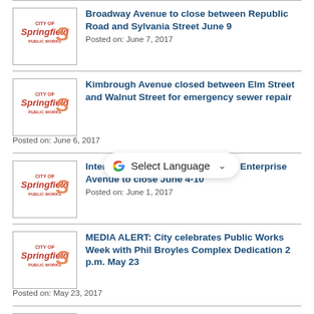Broadway Avenue to close between Republic Road and Sylvania Street June 9
Posted on: June 7, 2017
Kimbrough Avenue closed between Elm Street and Walnut Street for emergency sewer repair
Posted on: June 6, 2017
Intersection of Bennett Street and Enterprise Avenue to close June 4-10
Posted on: June 1, 2017
MEDIA ALERT: City celebrates Public Works Week with Phil Broyles Complex Dedication 2 p.m. May 23
Posted on: May 23, 2017
City celebrates Public Works Week with Phil Broyles Complex dedication and...